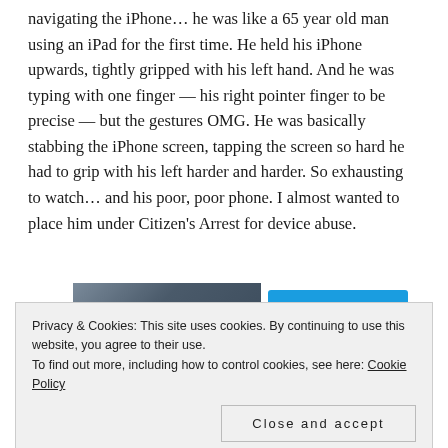navigating the iPhone… he was like a 65 year old man using an iPad for the first time. He held his iPhone upwards, tightly gripped with his left hand. And he was typing with one finger — his right pointer finger to be precise — but the gestures OMG. He was basically stabbing the iPhone screen, tapping the screen so hard he had to grip with his left harder and harder. So exhausting to watch… and his poor, poor phone. I almost wanted to place him under Citizen's Arrest for device abuse.
[Figure (photo): A partially visible photo of a person, cropped, showing upper body area.]
[Figure (other): A blue button partially visible, likely a call-to-action button.]
Privacy & Cookies: This site uses cookies. By continuing to use this website, you agree to their use.
To find out more, including how to control cookies, see here: Cookie Policy
Close and accept